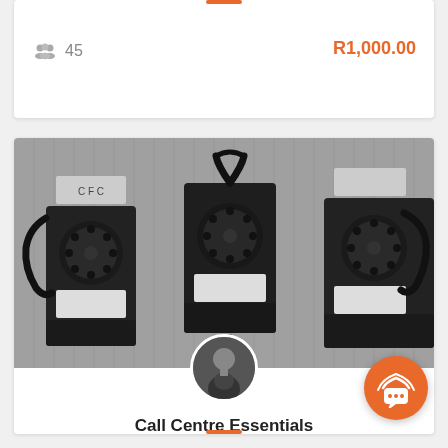45
R1,000.00
[Figure (photo): Black and white photo of three vintage rotary wall-mounted pay telephones on a striped wall background.]
Call Centre Essentials